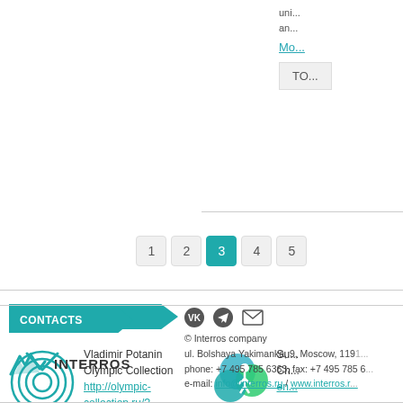uni... an...
Mo...
TO...
OUR RESOURCES
[Figure (logo): Vladimir Potanin Olympic Collection circular logo in teal]
Vladimir Potanin Olympic Collection
http://olympic-collection.ru/?lang=en
[Figure (logo): Sports charity organization logo with blue, green, teal overlapping circles and a person figure]
Su... Ch... en...
CONTACTS
[Figure (logo): Interros company logo with mountain/wave mark and INTERROS text]
© Interros company
ul. Bolshaya Yakimanka, 9, Moscow, 119...
phone: +7 495 785 6363, fax: +7 495 785 6...
e-mail: info@interros.ru / www.interros.r...